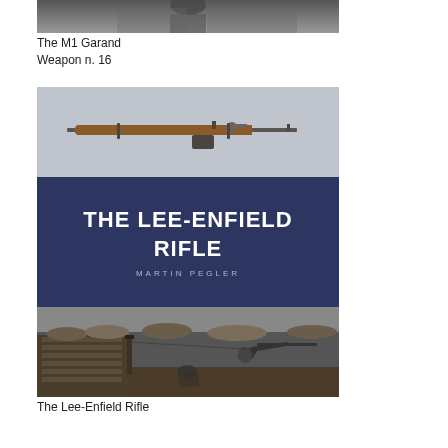[Figure (photo): Partial black and white photo of a soldier with M1 Garand rifle, cropped at top]
The M1 Garand
Weapon n. 16
[Figure (photo): Book cover for 'The Lee-Enfield Rifle' by Martin Pegler. Top section shows a color photo of a Lee-Enfield rifle on a gray background. Middle section has dark blue background with white bold text 'THE LEE-ENFIELD RIFLE' and author name 'MARTIN PEGLER' in spaced capitals. Bottom section is a black and white photo of soldiers in a WWI trench with rifles.]
The Lee-Enfield Rifle